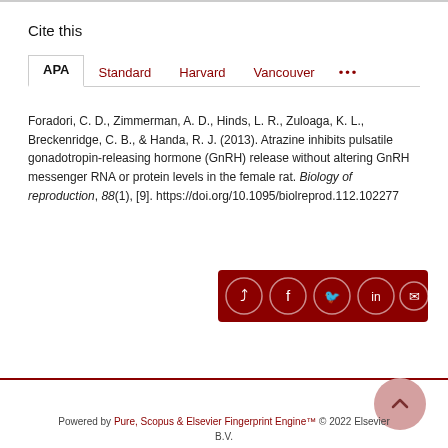Cite this
APA | Standard | Harvard | Vancouver | ...
Foradori, C. D., Zimmerman, A. D., Hinds, L. R., Zuloaga, K. L., Breckenridge, C. B., & Handa, R. J. (2013). Atrazine inhibits pulsatile gonadotropin-releasing hormone (GnRH) release without altering GnRH messenger RNA or protein levels in the female rat. Biology of reproduction, 88(1), [9]. https://doi.org/10.1095/biolreprod.112.102277
[Figure (other): Share buttons bar with icons for share, Facebook, Twitter, LinkedIn, and email on dark red background]
Powered by Pure, Scopus & Elsevier Fingerprint Engine™ © 2022 Elsevier B.V.